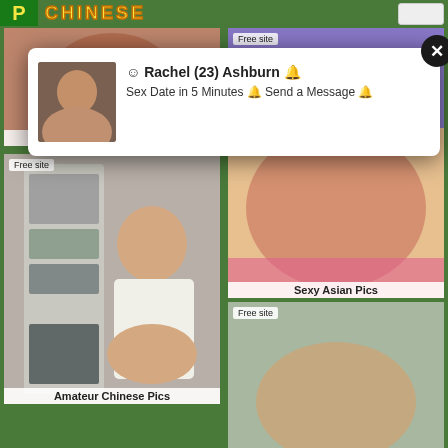[Figure (screenshot): Adult website screenshot showing a grid of thumbnail images with 'CHINESE' header text in yellow on green background, a popup overlay, and multiple image thumbnails with labels 'Sexy Asian Nude', 'Sexy Asian Pics', 'Amateur Chinese Pics', and 'Free site' badges]
☺ Rachel (23) Ashburn 🔔
Sex Date in 5 Minutes 🔔 Send a Message 🔔
Sexy Asian Nude
Sexy Asian Pics
Amateur Chinese Pics